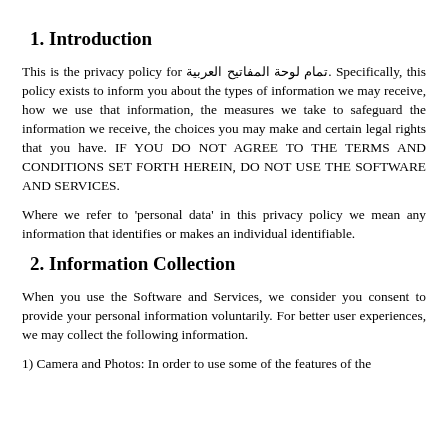1. Introduction
This is the privacy policy for تمام لوحة المفاتيح العربية. Specifically, this policy exists to inform you about the types of information we may receive, how we use that information, the measures we take to safeguard the information we receive, the choices you may make and certain legal rights that you have. IF YOU DO NOT AGREE TO THE TERMS AND CONDITIONS SET FORTH HEREIN, DO NOT USE THE SOFTWARE AND SERVICES.
Where we refer to 'personal data' in this privacy policy we mean any information that identifies or makes an individual identifiable.
2. Information Collection
When you use the Software and Services, we consider you consent to provide your personal information voluntarily. For better user experiences, we may collect the following information.
1) Camera and Photos: In order to use some of the features of the